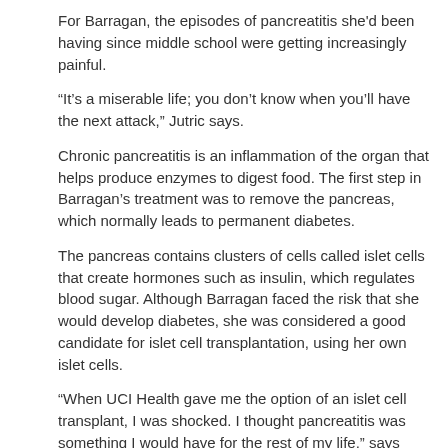For Barragan, the episodes of pancreatitis she'd been having since middle school were getting increasingly painful.
“It’s a miserable life; you don’t know when you’ll have the next attack,” Jutric says.
Chronic pancreatitis is an inflammation of the organ that helps produce enzymes to digest food. The first step in Barragan’s treatment was to remove the pancreas, which normally leads to permanent diabetes.
The pancreas contains clusters of cells called islet cells that create hormones such as insulin, which regulates blood sugar. Although Barragan faced the risk that she would develop diabetes, she was considered a good candidate for islet cell transplantation, using her own islet cells.
“When UCI Health gave me the option of an islet cell transplant, I was shocked. I thought pancreatitis was something I would have for the rest of my life,” says Barragan, now 24. “I had developed a bond with Dr. Jutric, so I was really confident. I wasn’t scared of surgery at all.”
On March 8, 2019, Jutric performed the 14-hour operation with Dr. Barish Wei-Mao Barnet and a team composed of a doctor of a doctor of a doctor.